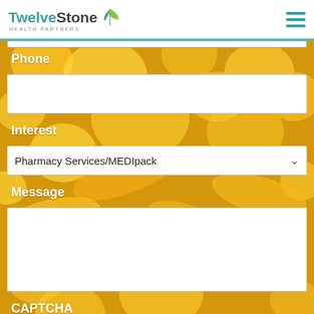TwelveStone Health Partners
Phone
Interest
Pharmacy Services/MEDIpack
Message
CAPTCHA